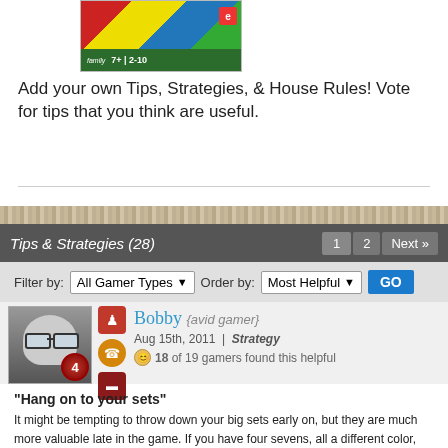[Figure (photo): Game box image showing colorful card game with family rating, age 7+, players 2-10]
Add your own Tips, Strategies, & House Rules! Vote for tips that you think are useful.
Tips & Strategies (28)
Filter by: All Gamer Types   Order by: Most Helpful   GO
[Figure (photo): User avatar - cartoon illustration of person with glasses, badge showing 4]
Bobby {avid gamer}
Aug 15th, 2011 | Strategy
18 of 19 gamers found this helpful
“Hang on to your sets”
It might be tempting to throw down your big sets early on, but they are much more valuable late in the game. If you have four sevens, all a different color, you can play on almost anything, keeping you out of the position of needing just the right color to win (someone else will usually figure out what color you need and try to keep from playing it).